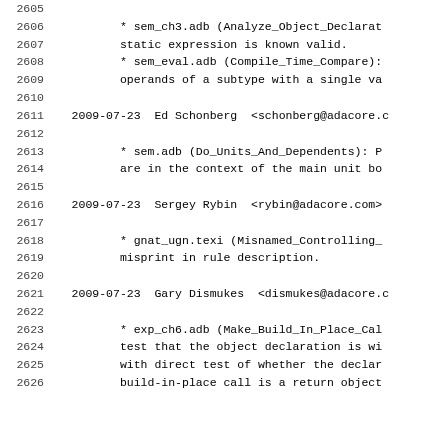2605
2606            * sem_ch3.adb (Analyze_Object_Declarat
2607            static expression is known valid.
2608            * sem_eval.adb (Compile_Time_Compare):
2609            operands of a subtype with a single va
2610
2611    2009-07-23  Ed Schonberg  <schonberg@adacore.c
2612
2613            * sem.adb (Do_Units_And_Dependents): P
2614            are in the context of the main unit bo
2615
2616    2009-07-23  Sergey Rybin  <rybin@adacore.com>
2617
2618            * gnat_ugn.texi (Misnamed_Controlling_
2619            misprint in rule description.
2620
2621    2009-07-23  Gary Dismukes  <dismukes@adacore.c
2622
2623            * exp_ch6.adb (Make_Build_In_Place_Cal
2624            test that the object declaration is wi
2625            with direct test of whether the declar
2626            build-in-place call is a return object